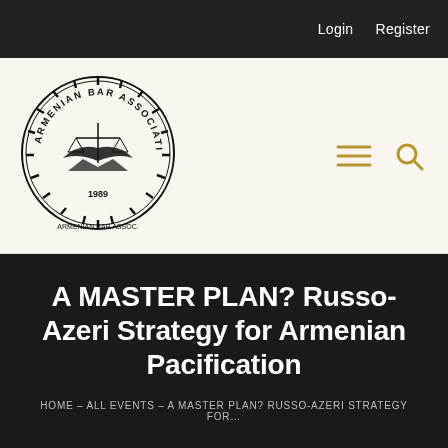Login   Register
[Figure (logo): Armenian Bar Association circular seal logo with scales of justice and eagle motif, founded 1989, with Armenian text below]
A MASTER PLAN? Russo-Azeri Strategy for Armenian Pacification
HOME – ALL EVENTS – A MASTER PLAN? RUSSO-AZERI STRATEGY FOR...